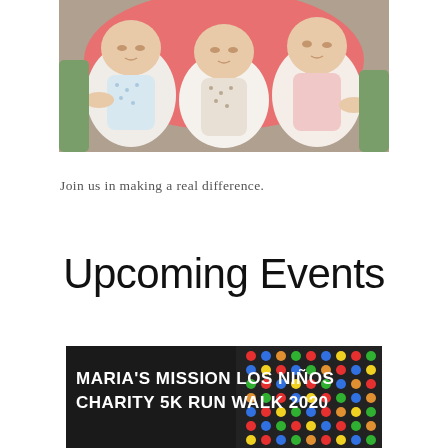[Figure (photo): Three newborn babies lying side by side on a reddish-pink cushioned surface, dressed in white, patterned, and pink outfits respectively.]
Join us in making a real difference.
Upcoming Events
[Figure (photo): Event banner with dark background showing colorful beaded pattern and bold white text reading MARIA'S MISSION LOS NIÑOS CHARITY 5K RUN WALK 2020]